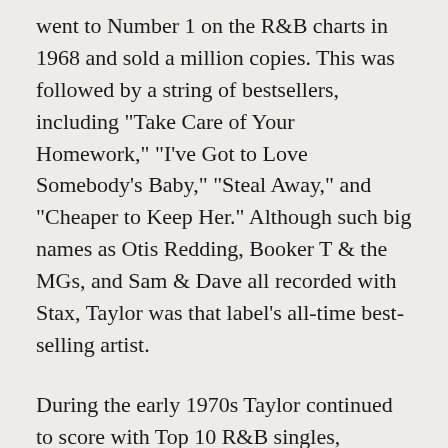went to Number 1 on the R&B charts in 1968 and sold a million copies. This was followed by a string of bestsellers, including "Take Care of Your Homework," "I've Got to Love Somebody's Baby," "Steal Away," and "Cheaper to Keep Her." Although such big names as Otis Redding, Booker T & the MGs, and Sam & Dave all recorded with Stax, Taylor was that label's all-time best-selling artist.
During the early 1970s Taylor continued to score with Top 10 R&B singles, including his second Number 1 in 1971, "Jody's Got Your Girl and Gone," and his third in 1973, "I Believe in You (You Believe in Me)." When Stax folded in 1975, Taylor went to Columbia Records, where, in 1976, he had the biggest hit of his